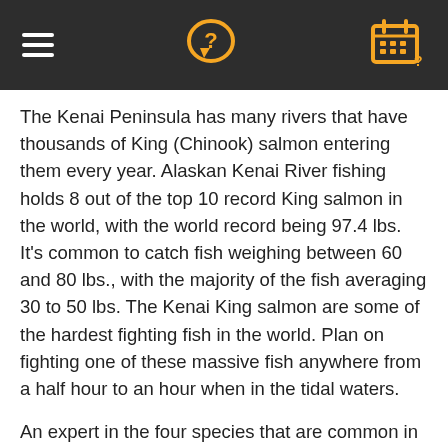[hamburger menu] [question icon] [calendar icon]
The Kenai Peninsula has many rivers that have thousands of King (Chinook) salmon entering them every year. Alaskan Kenai River fishing holds 8 out of the top 10 record King salmon in the world, with the world record being 97.4 lbs. It's common to catch fish weighing between 60 and 80 lbs., with the majority of the fish averaging 30 to 50 lbs. The Kenai King salmon are some of the hardest fighting fish in the world. Plan on fighting one of these massive fish anywhere from a half hour to an hour when in the tidal waters.
An expert in the four species that are common in the Kenai Peninsula (King, Sockeye, Coho, and Pink), Gary has the experience to know which fish are worth keeping and which are starting to turn bad. Alaska Salmon Fishing Guides should familiar with the entire river system, Alaska Fish On Charters! knows where to go when the fishing in one area is